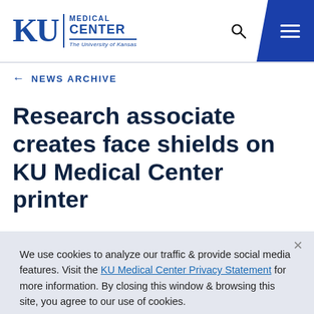[Figure (logo): KU Medical Center logo — The University of Kansas, blue serif text with horizontal rule]
KU MEDICAL CENTER — The University of Kansas
← NEWS ARCHIVE
Research associate creates face shields on KU Medical Center printer
We use cookies to analyze our traffic & provide social media features. Visit the KU Medical Center Privacy Statement for more information. By closing this window & browsing this site, you agree to our use of cookies.